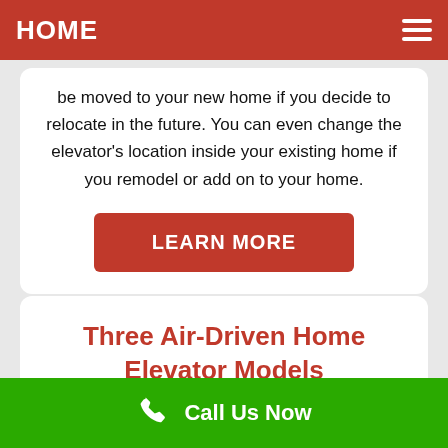HOME
be moved to your new home if you decide to relocate in the future. You can even change the elevator's location inside your existing home if you remodel or add on to your home.
LEARN MORE
Three Air-Driven Home Elevator Models
Call Us Now